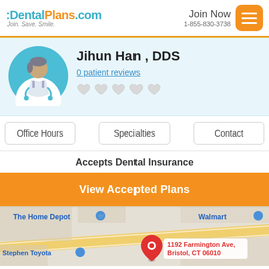DentalPlans.com — Join. Save. Smile. | Join Now 1-855-830-3738
Jihun Han , DDS
0 patient reviews
Accepts Dental Insurance
View Accepted Plans
[Figure (map): Google map showing 1192 Farmington Ave, Bristol, CT 06010 with nearby landmarks including The Home Depot, Walmart, and Stephen Toyota]